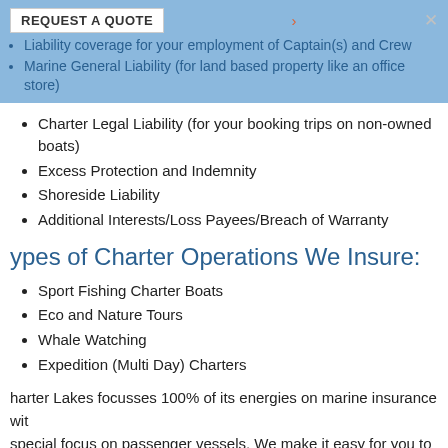Liability coverage for your employment of Captain(s) and Crew
Marine General Liability (for land based property like an office store)
Charter Legal Liability (for your booking trips on non-owned boats)
Excess Protection and Indemnity
Shoreside Liability
Additional Interests/Loss Payees/Breach of Warranty
Types of Charter Operations We Insure:
Sport Fishing Charter Boats
Eco and Nature Tours
Whale Watching
Expedition (Multi Day) Charters
Charter Lakes focusses 100% of its energies on marine insurance with special focus on passenger vessels. We make it easy for you to purchase the broadest coverage available at the most competitive price. Let our experienced Agents go to work for you.  Fleet discounts